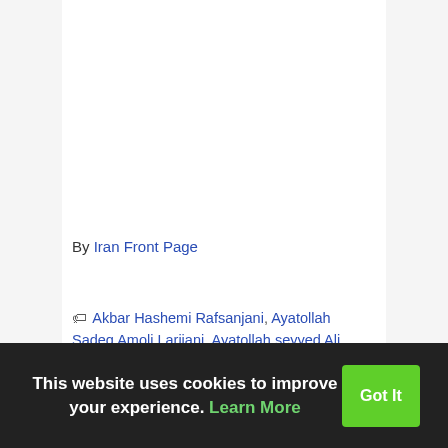By Iran Front Page
Akbar Hashemi Rafsanjani, Ayatollah Sadeq Amoli Larijani, Ayatollah seyyed Ali Khamenei,
This website uses cookies to improve your experience. Learn More  Got It